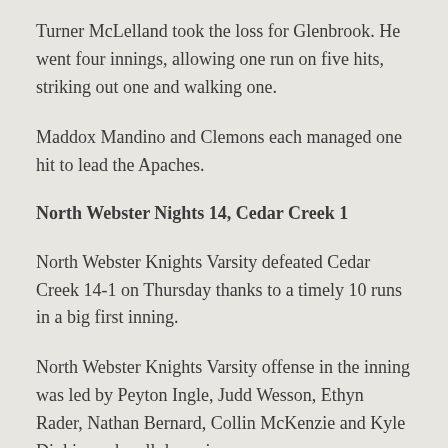Turner McLelland took the loss for Glenbrook. He went four innings, allowing one run on five hits, striking out one and walking one.
Maddox Mandino and Clemons each managed one hit to lead the Apaches.
North Webster Nights 14, Cedar Creek 1
North Webster Knights Varsity defeated Cedar Creek 14-1 on Thursday thanks to a timely 10 runs in a big first inning.
North Webster Knights Varsity offense in the inning was led by Peyton Ingle, Judd Wesson, Ethyn Rader, Nathan Bernard, Collin McKenzie and Kyle Dinkins, who all drove in runs.